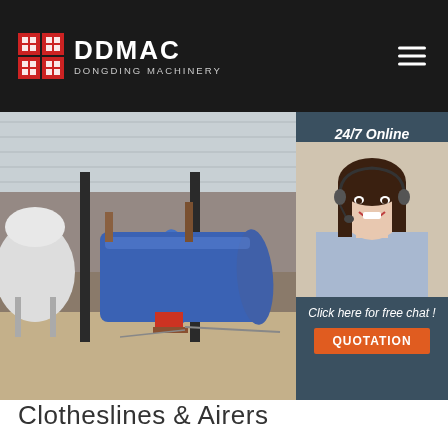DDMAC DONGDING MACHINERY
[Figure (photo): Interior of a large industrial warehouse/factory with a large blue cylindrical drum dryer machine, steel frame structure, concrete floor, and various industrial equipment. A white dome silo is visible on the left.]
[Figure (photo): Customer service agent: a woman with dark hair wearing a headset and light blue shirt, smiling. Overlay panel shows '24/7 Online', 'Click here for free chat!' and a QUOTATION button.]
Clotheslines & Airers